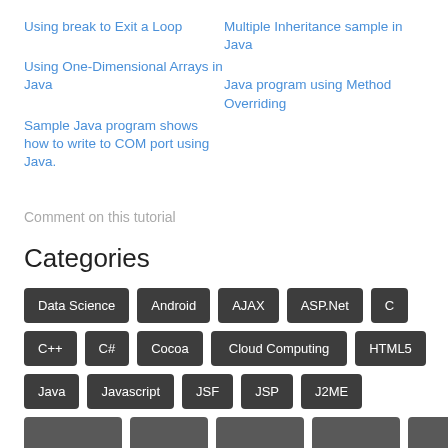Using break to Exit a Loop
Multiple Inheritance sample in Java
Using One-Dimensional Arrays in Java
Java program using Method Overriding
Sample Java program shows how to write to COM port using Java.
Comment on this tutorial
Categories
Data Science
Android
AJAX
ASP.Net
C
C++
C#
Cocoa
Cloud Computing
HTML5
Java
Javascript
JSF
JSP
J2ME